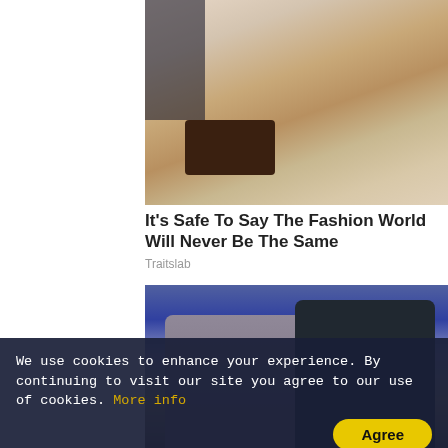[Figure (photo): A person leaning down toward a surface with food on it]
It's Safe To Say The Fashion World Will Never Be The Same
Traitslab
[Figure (photo): Two people posing together, a woman in a sparkly blue outfit and an older man with grey hair in a dark shirt]
We use cookies to enhance your experience. By continuing to visit our site you agree to our use of cookies. More info